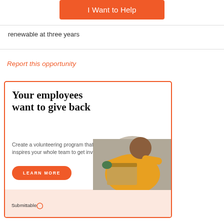I Want to Help
renewable at three years
Report this opportunity
[Figure (infographic): Submittable advertisement banner with orange border. Headline: 'Your employees want to give back'. Subtext: 'Create a volunteering program that inspires your whole team to get involved'. Orange 'LEARN MORE' button. Photo of man in orange shirt packing boxes. Submittable logo at bottom left. Decorative colored dots.]